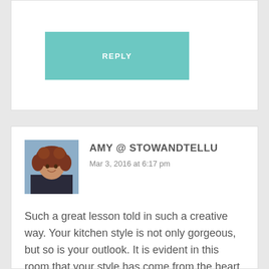[Figure (other): Reply button (teal/turquoise) from a previous comment section, partially visible at top of page]
[Figure (photo): Avatar photo of Amy, a woman with curly reddish hair, smiling, shown outdoors]
AMY @ STOWANDTELLU
Mar 3, 2016 at 6:17 pm
Such a great lesson told in such a creative way. Your kitchen style is not only gorgeous, but so is your outlook. It is evident in this room that your style has come from the heart :)
[Figure (other): Reply button (teal/turquoise) below the comment]